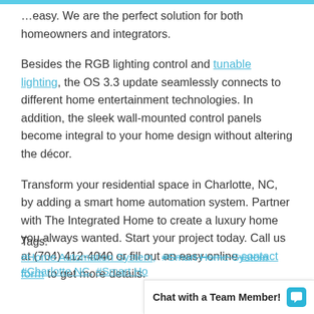…easy. We are the perfect solution for both homeowners and integrators.
Besides the RGB lighting control and tunable lighting, the OS 3.3 update seamlessly connects to different home entertainment technologies. In addition, the sleek wall-mounted control panels become integral to your home design without altering the décor.
Transform your residential space in Charlotte, NC, by adding a smart home automation system. Partner with The Integrated Home to create a luxury home you always wanted. Start your project today. Call us at (704) 412-4040 or fill out an easy online contact form to get more details.
Tags:
#Home Automation System, #Smart Home System
#Charlotte NC, #Smart Ho…